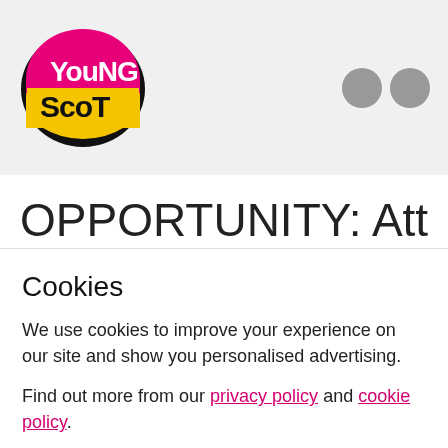[Figure (logo): Young Scot logo: oval shape with pink top half containing 'YouNG' in white letters and yellow bottom half containing 'ScoT' in black letters, black border]
[Figure (other): Two grey circles side by side, representing social media or menu icons]
OPPORTUNITY: Attend a #YSHive Volunteer Info
Cookies
We use cookies to improve your experience on our site and show you personalised advertising.
Find out more from our privacy policy and cookie policy.
Accept and close
Your options